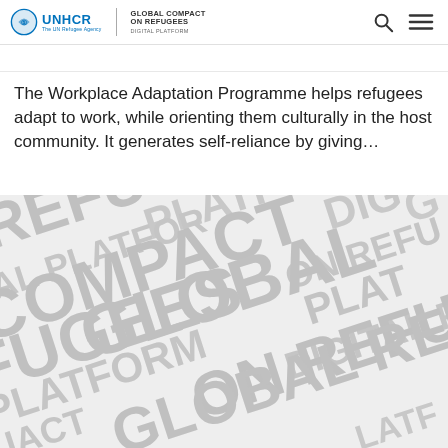UNHCR | Global Compact on Refugees Digital Platform
The Workplace Adaptation Programme helps refugees adapt to work, while orienting them culturally in the host community. It generates self-reliance by giving...
[Figure (illustration): Background pattern with repeated overlapping words: REFUGEES, GLOBAL, COMPACT, ON, PLATFORM, DIGITAL in large bold grey letters at various angles]